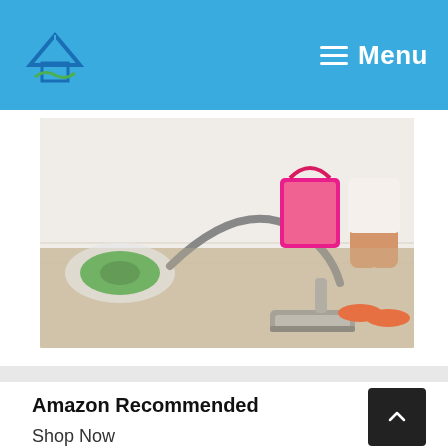Menu
[Figure (photo): Person vacuuming a light beige carpet with a grey canister vacuum cleaner; a pink mop bucket and green vacuum body visible in the background; person wearing pink flip flops]
Amazon Recommended
Shop Now